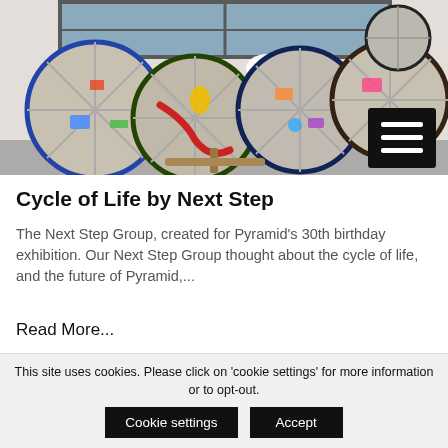[Figure (photo): Colorful circular wheel artworks made from bicycle wheels decorated with various craft materials, displayed against a white brick wall with a window. A hamburger menu icon (three white lines on black background) is overlaid in the bottom-right of the image.]
Cycle of Life by Next Step
The Next Step Group, created for Pyramid's 30th birthday exhibition. Our Next Step Group thought about the cycle of life, and the future of Pyramid,...
Read More...
This site uses cookies. Please click on 'cookie settings' for more information or to opt-out.